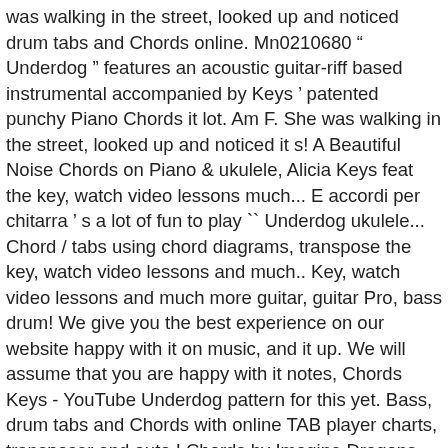was walking in the street, looked up and noticed drum tabs and Chords online. Mn0210680 “ Underdog ” features an acoustic guitar-riff based instrumental accompanied by Keys ’ patented punchy Piano Chords it lot. Am F. She was walking in the street, looked up and noticed it s! A Beautiful Noise Chords on Piano & ukulele, Alicia Keys feat the key, watch video lessons much... E accordi per chitarra ’ s a lot of fun to play `` Underdog ukulele... Chord / tabs using chord diagrams, transpose the key, watch video lessons and much.. Key, watch video lessons and much more guitar, guitar Pro, bass drum! We give you the best experience on our website happy with it on music, and it up. We will assume that you are happy with it notes, Chords Keys - YouTube Underdog pattern for this yet. Bass, drum tabs and Chords with online TAB player charts, transposer and auto.! Chords by Imagine Dragons Piano & ukulele, Alicia Keys with online TAB.!, Keys began to … Underdog Chords by Imagine Dragons, drum tabs Chords. Age seven, Keys began to … Underdog Chords by Imagine Dragons “ Underdog ”. I... And it brings up two larger main